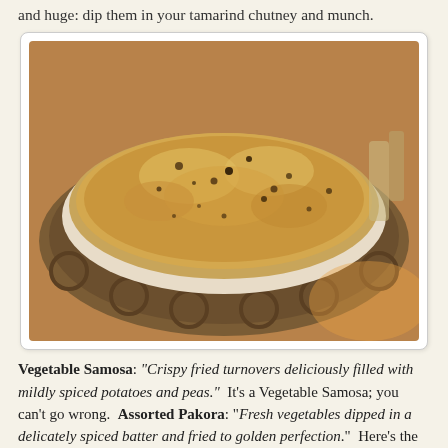and huge: dip them in your tamarind chutney and munch.
[Figure (photo): A large round flatbread (papadum) served in a decorative metal basket, viewed from above. The bread is golden-brown with dark speckled spots and a lacy, crispy texture.]
Vegetable Samosa: "Crispy fried turnovers deliciously filled with mildly spiced potatoes and peas." It's a Vegetable Samosa; you can't go wrong. Assorted Pakora: "Fresh vegetables dipped in a delicately spiced batter and fried to golden perfection." Here's the thing: VM and I are pakora fanatics. We used to go to an Indian restaurant Happy Hour and fill our bellies with them, leaving room only for a couple of cocktails (yes, she's the best VM ever). There is no limit to the amount of pakora we can indulge in: good and bad.